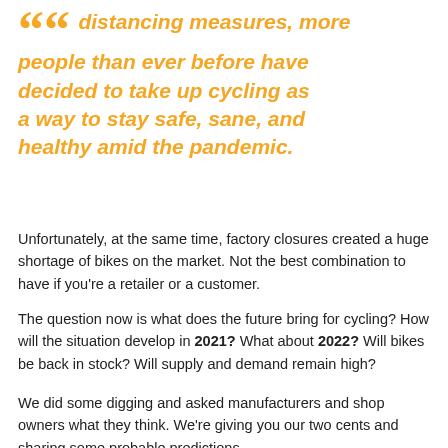distancing measures, more people than ever before have decided to take up cycling as a way to stay safe, sane, and healthy amid the pandemic.
Unfortunately, at the same time, factory closures created a huge shortage of bikes on the market. Not the best combination to have if you're a retailer or a customer.
The question now is what does the future bring for cycling? How will the situation develop in 2021? What about 2022? Will bikes be back in stock? Will supply and demand remain high?
We did some digging and asked manufacturers and shop owners what they think. We're giving you our two cents and sharing some probable predictions.